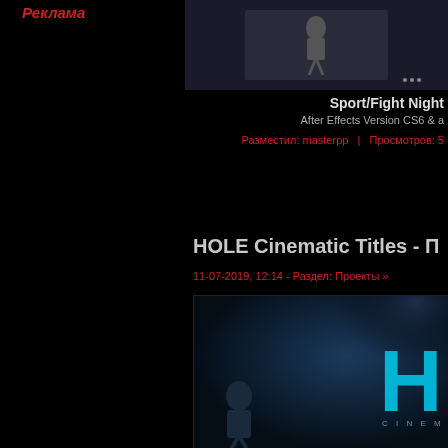Реклама
[Figure (screenshot): Top partial screenshot of a video/project thumbnail with dark cinematic content]
Sport/Fight Night
After Effects Version CS6 & a
Разместил: masterpp   |   Просмотров: 5
HOLE Cinematic Titles - П
11-07-2019, 12:14 - Раздел: Проекты »
[Figure (screenshot): Dark cinematic thumbnail for HOLE Cinematic Titles project, showing glowing teal letter H on dark background with spotlight effect and silhouette figure]